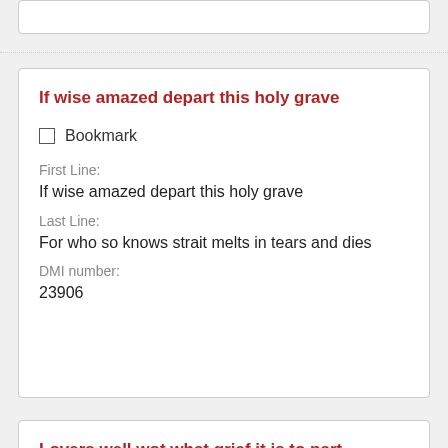If wise amazed depart this holy grave
Bookmark
First Line:
If wise amazed depart this holy grave
Last Line:
For who so knows strait melts in tears and dies
DMI number:
23906
Lovers well wot what grief it is to part
Bookmark